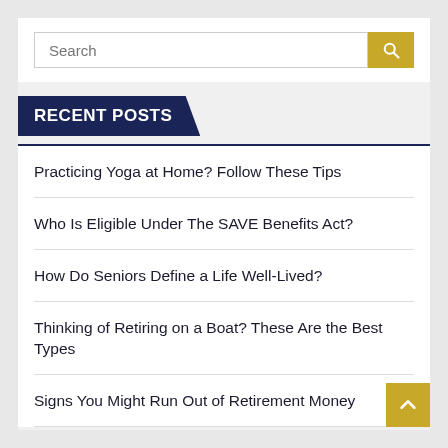[Figure (screenshot): Search bar with text input field placeholder 'Search' and a gold/yellow search button with magnifying glass icon]
RECENT POSTS
Practicing Yoga at Home? Follow These Tips
Who Is Eligible Under The SAVE Benefits Act?
How Do Seniors Define a Life Well-Lived?
Thinking of Retiring on a Boat? These Are the Best Types
Signs You Might Run Out of Retirement Money